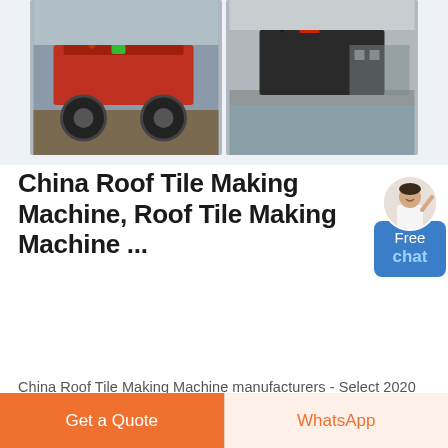[Figure (photo): Two industrial machines (roof tile making / dredging equipment) photographed outdoors, side by side]
China Roof Tile Making Machine, Roof Tile Making Machine ...
China Roof Tile Making Machine manufacturers - Select 2020 high quality Roof Tile Making Machine products in best price from certified Chinese Construction Machinery manufacturers, Block Making Machine suppliers, wholesalers and factory on Made-in-China.com